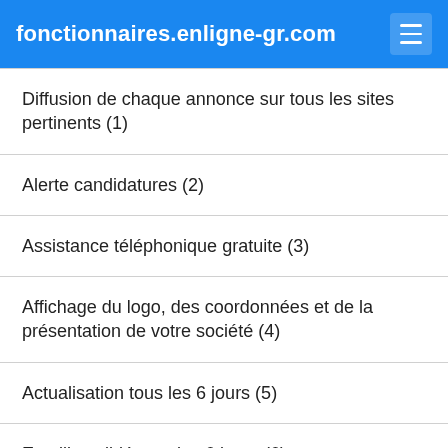fonctionnaires.enligne-gr.com
Diffusion de chaque annonce sur tous les sites pertinents (1)
Alerte candidatures (2)
Assistance téléphonique gratuite (3)
Affichage du logo, des coordonnées et de la présentation de votre société (4)
Actualisation tous les 6 jours (5)
Emailing ciblé tous les 6 jours (6)
Accès à tous les CV complets avec les coordonnées (7)